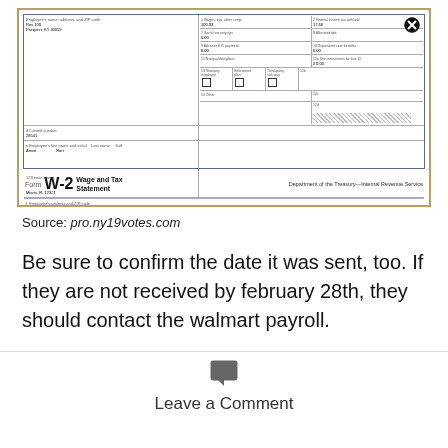[Figure (screenshot): W-2 Wage and Tax Statement form from the IRS, showing partially filled form fields including employer name, address, control number, employee name, and various tax boxes with values like 100.33, 17.66, 0.00]
Source: pro.ny19votes.com
Be sure to confirm the date it was sent, too. If they are not received by february 28th, they should contact the walmart payroll.
Leave a Comment